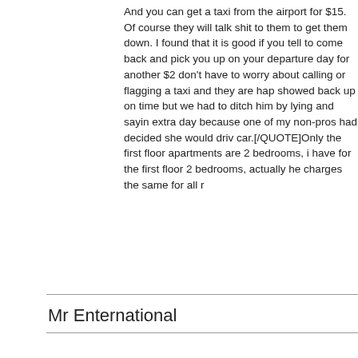And you can get a taxi from the airport for $15. Of course they will talk shit to them to get them down. I found that it is good if you tell to come back and pick you up on your departure day for another $2 don't have to worry about calling or flagging a taxi and they are hap showed back up on time but we had to ditch him by lying and sayin extra day because one of my non-pros had decided she would driv car.[/QUOTE]Only the first floor apartments are 2 bedrooms, i have for the first floor 2 bedrooms, actually he charges the same for all r
Mr Enternational
[QUOTE=Dirtyguy]Only the first floor apartments are 2 bedrooms, i than 40 for the first floor 2 bedrooms, actually he charges the same [/QUOTE]Yeah you are right. When my friend took the one on the 2 But if both of us had stayed in the one downstairs he was going to or 30 each because we would be utilizing both rooms.
Sailor02
Any recent news about ElCaucho?
I'm heading to BC and SD on the 27th. This will be my third trip is a wondering if anyone has stayed at EC recently. I've read that since no longer associatosd with the hotel that it is not as good.